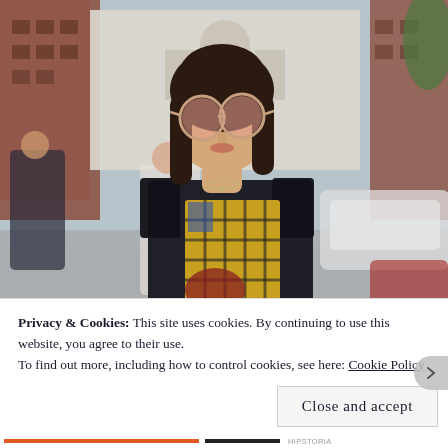[Figure (photo): Street style fashion photo of an Asian woman wearing large round pink sunglasses, a black blazer, a yellow and black plaid top, and a necklace. She is walking on a city street with blurred buildings and cars in the background. Other pedestrians are visible behind her.]
Privacy & Cookies: This site uses cookies. By continuing to use this website, you agree to their use.
To find out more, including how to control cookies, see here: Cookie Policy
Close and accept